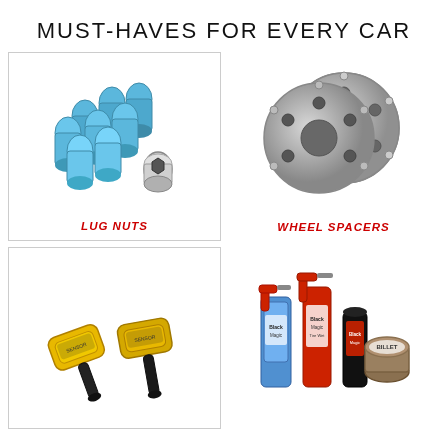MUST-HAVES FOR EVERY CAR
[Figure (photo): Blue lug nuts with a chrome socket adapter]
LUG NUTS
[Figure (photo): Two silver wheel spacers with studs]
WHEEL SPACERS
[Figure (photo): Two yellow TPMS tire pressure monitoring sensors with black stems]
[Figure (photo): Car care products including a blue spray bottle, red spray bottle, and a round tin labeled Billet]